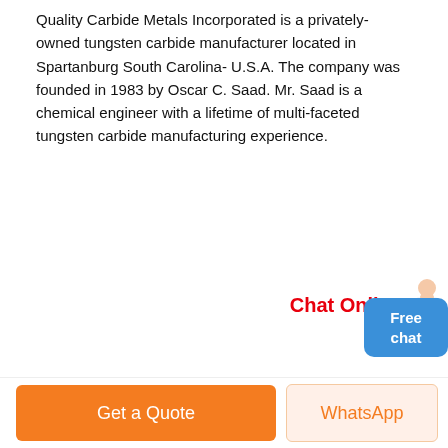Quality Carbide Metals Incorporated is a privately-owned tungsten carbide manufacturer located in Spartanburg South Carolina- U.S.A. The company was founded in 1983 by Oscar C. Saad. Mr. Saad is a chemical engineer with a lifetime of multi-faceted tungsten carbide manufacturing experience.
[Figure (other): Chat Online button with female avatar icon and blue Free chat button]
[Figure (photo): Industrial facility photo showing large cylindrical grinding mill machinery supported by blue steel scaffolding structure, with a person standing at the base]
Get a Quote
WhatsApp